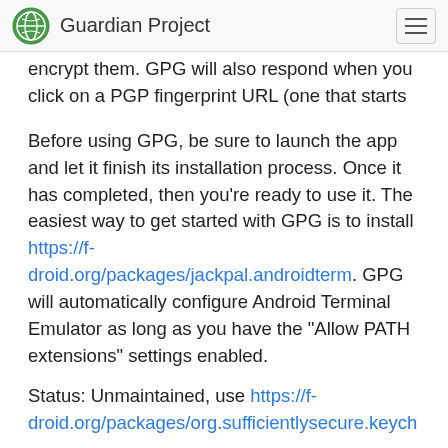Guardian Project
encrypt them. GPG will also respond when you click on a PGP fingerprint URL (one that starts with openpgp4fpr:).
Before using GPG, be sure to launch the app and let it finish its installation process. Once it has completed, then you're ready to use it. The easiest way to get started with GPG is to install https://f-droid.org/packages/jackpal.androidterm. GPG will automatically configure Android Terminal Emulator as long as you have the "Allow PATH extensions" settings enabled.
Status: Unmaintained, use https://f-droid.org/packages/org.sufficientlysecure.keychain